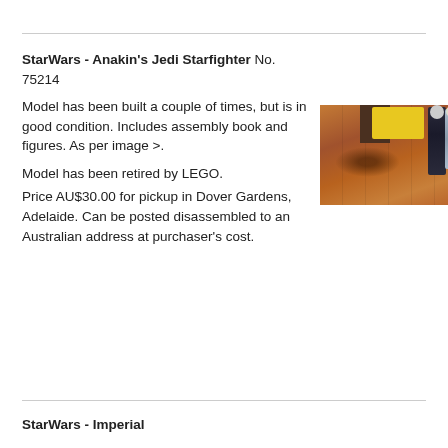StarWars - Anakin's Jedi Starfighter No. 75214
Model has been built a couple of times, but is in good condition. Includes assembly book and figures. As per image >.
Model has been retired by LEGO.
Price AU$30.00 for pickup in Dover Gardens, Adelaide. Can be posted disassembled to an Australian address at purchaser's cost.
[Figure (photo): Photo of LEGO Star Wars Anakin's Jedi Starfighter set on a wooden floor surface, with LEGO minifigures visible and a yellow container/box]
StarWars - Imperial